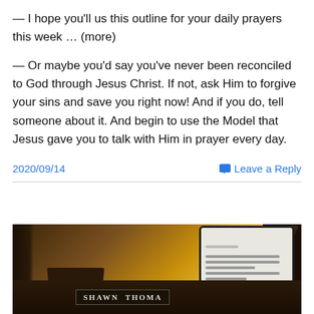— I hope you'll us this outline for your daily prayers this week … (more)
— Or maybe you'd say you've never been reconciled to God through Jesus Christ. If not, ask Him to forgive your sins and save you right now! And if you do, tell someone about it. And begin to use the Model that Jesus gave you to talk with Him in prayer every day.
2020/09/14    Leave a Reply
[Figure (photo): Photo of a desk with a name plate reading 'SHAWN THOMA' (partially visible), a tablet/iPad showing a document, and a music stand in the background, warm amber lighting.]